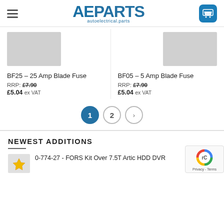AE PARTS autoelectrical.parts
[Figure (photo): Product image placeholder for BF25 blade fuse]
BF25 – 25 Amp Blade Fuse
RRP: £7.90  £5.04 ex VAT
[Figure (photo): Product image placeholder for BF05 blade fuse]
BF05 – 5 Amp Blade Fuse
RRP: £7.90  £5.04 ex VAT
1  2  >
NEWEST ADDITIONS
0-774-27 - FORS Kit Over 7.5T Artic HDD DVR